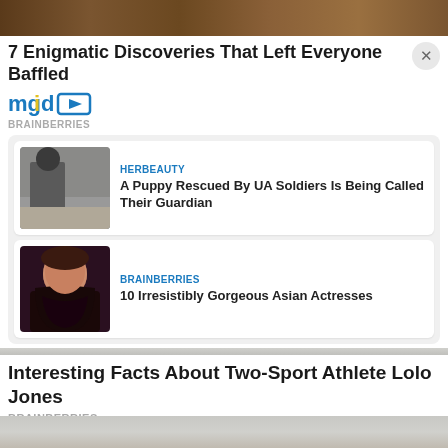[Figure (photo): Top image strip showing logs/wood background]
7 Enigmatic Discoveries That Left Everyone Baffled
[Figure (logo): mgid logo with play button icon]
BRAINBERRIES
[Figure (photo): Ad widget card 1: soldier with puppy in rubble - HERBEAUTY: A Puppy Rescued By UA Soldiers Is Being Called Their Guardian]
[Figure (photo): Ad widget card 2: Asian actress portrait - BRAINBERRIES: 10 Irresistibly Gorgeous Asian Actresses]
Interesting Facts About Two-Sport Athlete Lolo Jones
BRAINBERRIES
[Figure (screenshot): Social share buttons: Facebook, Twitter, Pinterest, LinkedIn, More]